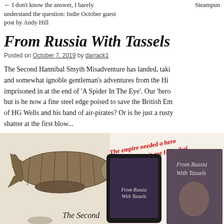I don't know the answer, I barely understand the question: Indie October guest post by Andy Hill
From Russia With Tassels
Posted on October 7, 2019 by darrack1
The Second Hannibal Smyth Misadventure has landed, taking and somewhat ignoble gentleman's adventures from the Hi imprisoned in at the end of 'A Spider In The Eye'. Our 'hero but is he now a fine steel edge poised to save the British Em of HG Wells and his band of air-pirates? Or is he just a rusty shatter at the first blow...
[Figure (photo): Image of a steampunk airship (dirigible), book cover showing 'From Russia With Tassels' on a tablet, and a physical book cover of 'From Russia With Tassels'. Red italic slogan text reads 'The empire needed a hero / Unfortunately it got Hannibal'. Caption text 'The Second' visible at bottom left.]